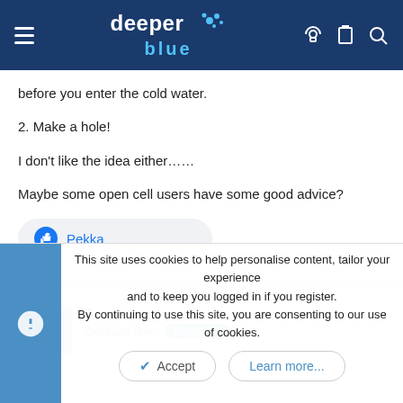deeper blue — navigation header
before you enter the cold water.
2. Make a hole!
I don't like the idea either......
Maybe some open cell users have some good advice?
👍 Pekka
Jon
Dainland diver  Supporter
This site uses cookies to help personalise content, tailor your experience and to keep you logged in if you register.
By continuing to use this site, you are consenting to our use of cookies.
✔ Accept    Learn more...